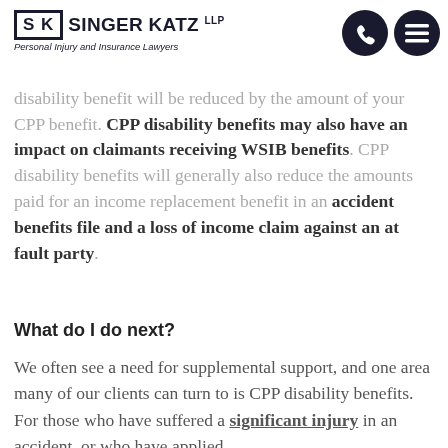Singer Katz LLP — Personal Injury and Insurance Lawyers — logo and navigation icons
The interaction between various benefits systems can be complicated. Most insurance policies will coordinate disability benefits. This means that your long-term disability benefit will be reduced by the amount of your CPP benefit. CPP disability benefits may also have an impact on claimants receiving WSIB benefits. CPP disability benefits will generally also reduce the amounts paid for an income replacement benefit in an accident benefits file and a loss of income claim against an at fault party.
What do I do next?
We often see a need for supplemental support, and one area many of our clients can turn to is CPP disability benefits. For those who have suffered a significant injury in an accident, or who have applied